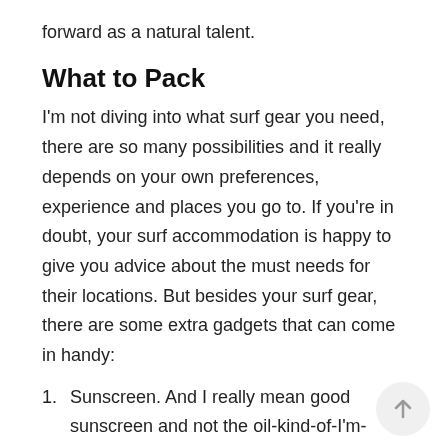forward as a natural talent.
What to Pack
I'm not diving into what surf gear you need, there are so many possibilities and it really depends on your own preferences, experience and places you go to. If you're in doubt, your surf accommodation is happy to give you advice about the must needs for their locations. But besides your surf gear, there are some extra gadgets that can come in handy:
Sunscreen. And I really mean good sunscreen and not the oil-kind-of-I'm-tanning-type cause you going to be half tomato half human. A firm waterproof type will do, but there is a